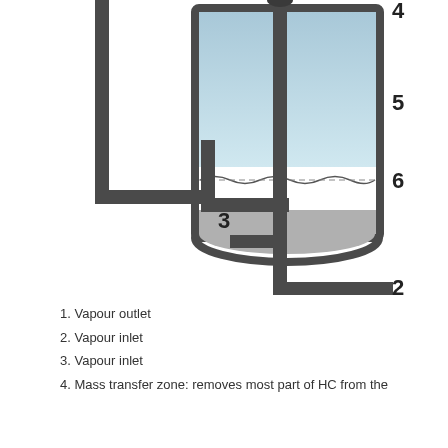[Figure (engineering-diagram): Cross-section diagram of a vapour separation vessel showing: a large cylindrical container with a mass transfer zone (label 4 at top, label 5 in upper vapor zone, label 6 at liquid-vapor interface), an inner dip tube/inlet pipe (label 3 at bottom), an external U-shaped pipe on the left (label 1 at top left, implied vapour outlet), and a lower inlet pipe on the right bottom (label 2). The vessel contains liquid at the bottom (gray) and vapor/gas above (light blue gradient). Wavy lines indicate the liquid surface.]
1. Vapour outlet
2. Vapour inlet
3. Vapour inlet
4. Mass transfer zone: removes most part of HC from the